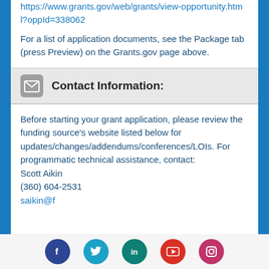https://www.grants.gov/web/grants/view-opportunity.html?oppId=338062
For a list of application documents, see the Package tab (press Preview) on the Grants.gov page above.
[Figure (illustration): Envelope/mail icon in grey rounded square]
Contact Information:
Before starting your grant application, please review the funding source's website listed below for updates/changes/addendums/conferences/LOIs. For programmatic technical assistance, contact:
Scott Aikin
(360) 604-2531
saikin@f
Social media icons: Facebook, Twitter, LinkedIn, YouTube, Instagram